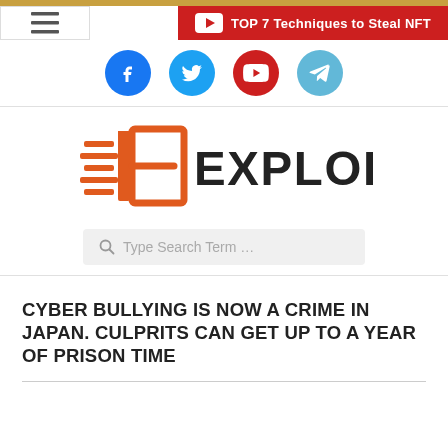TOP 7 Techniques to Steal NFT
[Figure (logo): Exploit One website logo with stylized 1E icon in orange and the text EXPLOIT ONE]
Type Search Term ...
CYBER BULLYING IS NOW A CRIME IN JAPAN. CULPRITS CAN GET UP TO A YEAR OF PRISON TIME